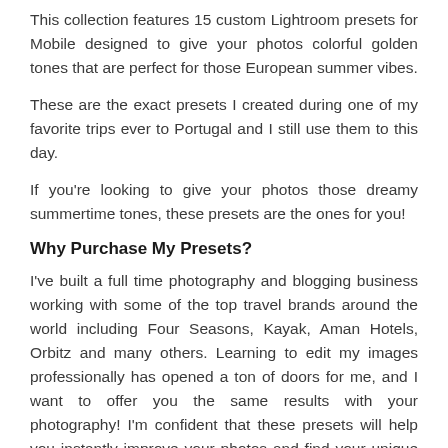This collection features 15 custom Lightroom presets for Mobile designed to give your photos colorful golden tones that are perfect for those European summer vibes.
These are the exact presets I created during one of my favorite trips ever to Portugal and I still use them to this day.
If you're looking to give your photos those dreamy summertime tones, these presets are the ones for you!
Why Purchase My Presets?
I've built a full time photography and blogging business working with some of the top travel brands around the world including Four Seasons, Kayak, Aman Hotels, Orbitz and many others. Learning to edit my images professionally has opened a ton of doors for me, and I want to offer you the same results with your photography! I'm confident that these presets will help you instantly improve your photos and find your unique style.